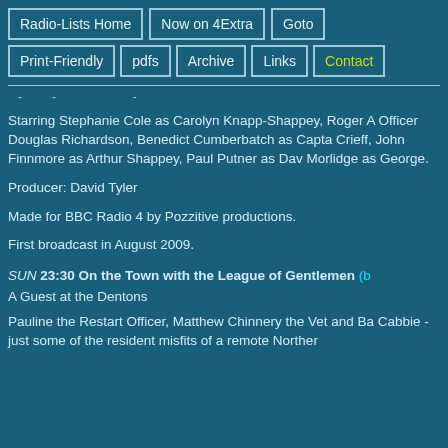Radio-Lists Home | Now on 4Extra | Goto | Print-Friendly | pdfs | Archive | Links | Contact
- - -
Starring Stephanie Cole as Carolyn Knapp-Shappey, Roger A Officer Douglas Richardson, Benedict Cumberbatch as Capta Crieff, John Finnmore as Arthur Shappey, Paul Putner as Dav Morlidge as George.
Producer: David Tyler
Made for BBC Radio 4 by Pozzitive productions.
First broadcast in August 2009.
SUN 23:30 On the Town with the League of Gentlemen (b
A Guest at the Dentons
Pauline the Restart Officer, Matthew Chinnery the Vet and Ba Cabbie - just some of the resident misfits of a remote Norther